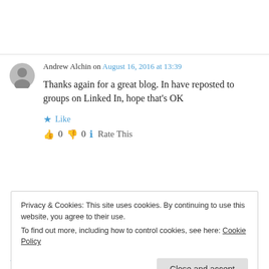Andrew Alchin on August 16, 2016 at 13:39
Thanks again for a great blog. In have reposted to groups on Linked In, hope that’s OK
★ Like
👍 0 👎 0 ℹ Rate This
Privacy & Cookies: This site uses cookies. By continuing to use this website, you agree to their use. To find out more, including how to control cookies, see here: Cookie Policy
Close and accept
★ Like